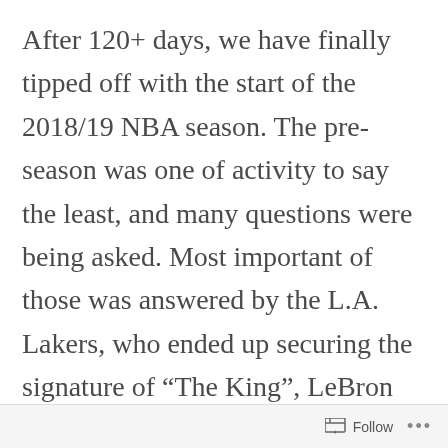After 120+ days, we have finally tipped off with the start of the 2018/19 NBA season. The pre-season was one of activity to say the least, and many questions were being asked. Most important of those was answered by the L.A. Lakers, who ended up securing the signature of “The King”, LeBron James. Despite the media frenzy surrounding his departure from where he referred to as home, there were other major moves that have resulted in a potentially exciting NBA season ahead of us. A season that won’t be
Follow ...